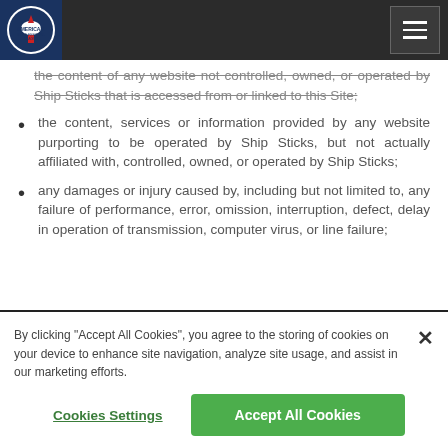America's Golf Festival League website navigation header
the content of any website not controlled, owned, or operated by Ship Sticks that is accessed from or linked to this Site;
the content, services or information provided by any website purporting to be operated by Ship Sticks, but not actually affiliated with, controlled, owned, or operated by Ship Sticks;
any damages or injury caused by, including but not limited to, any failure of performance, error, omission, interruption, defect, delay in operation of transmission, computer virus, or line failure;
By clicking "Accept All Cookies", you agree to the storing of cookies on your device to enhance site navigation, analyze site usage, and assist in our marketing efforts.